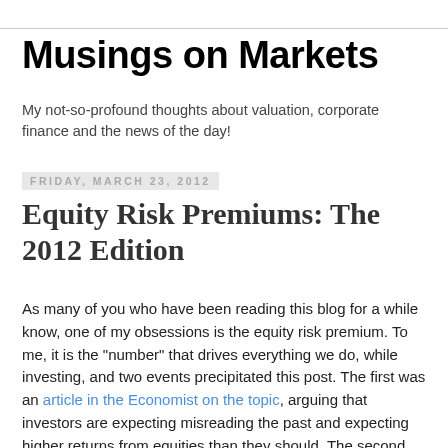Musings on Markets
My not-so-profound thoughts about valuation, corporate finance and the news of the day!
Friday, March 23, 2012
Equity Risk Premiums: The 2012 Edition
As many of you who have been reading this blog for a while know, one of my obsessions is the equity risk premium. To me, it is the "number" that drives everything we do, while investing, and two events precipitated this post. The first was an article in the Economist on the topic, arguing that investors are expecting misreading the past and expecting higher returns from equities than they should. The second was the culmination of what has now become an annual ritual for me, which is updating my paper on equity risk premiums for the fifth year (I started in September 2008).